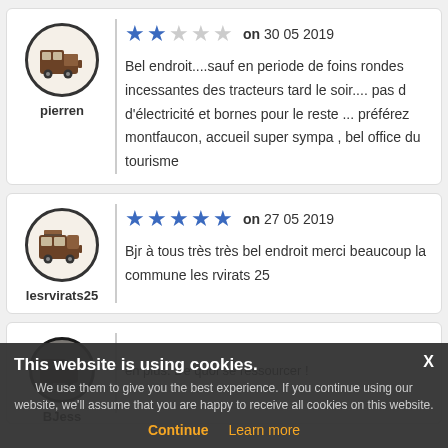[Figure (other): Review card for user 'pierren' with 2-star rating on 30 05 2019]
pierren
on 30 05 2019
Bel endroit....sauf en periode de foins rondes incessantes des tracteurs tard le soir.... pas d d'électricité et bornes pour le reste ... préférez montfaucon, accueil super sympa , bel office du tourisme
[Figure (other): Review card for user 'lesrvirats25' with 5-star rating on 27 05 2019]
lesrvirats25
on 27 05 2019
Bjr à tous très très bel endroit merci beaucoup la commune les rvirats 25
[Figure (other): Partial review card for user 'BJess' partially obscured by cookie banner]
BJess
en plus. De quoi se ressourcer !
This website is using cookies.
We use them to give you the best experience. If you continue using our website, we'll assume that you are happy to receive all cookies on this website.
Continue  Learn more